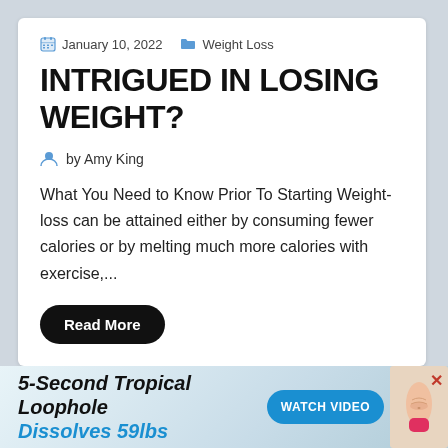January 10, 2022   Weight Loss
INTRIGUED IN LOSING WEIGHT?
by Amy King
What You Need to Know Prior To Starting Weight-loss can be attained either by consuming fewer calories or by melting much more calories with exercise,...
Read More
[Figure (infographic): Advertisement banner: 5-Second Tropical Loophole Dissolves 59lbs with Watch Video button and illustration of slim torso]